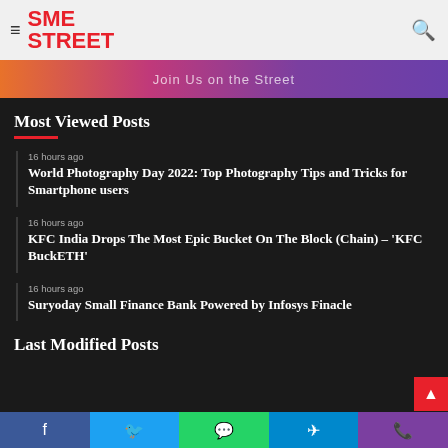SME STREET
[Figure (infographic): Gradient banner with text partially visible]
Most Viewed Posts
16 hours ago — World Photography Day 2022: Top Photography Tips and Tricks for Smartphone users
16 hours ago — KFC India Drops The Most Epic Bucket On The Block (Chain) – 'KFC BuckETH'
16 hours ago — Suryoday Small Finance Bank Powered by Infosys Finacle
Last Modified Posts
Facebook | Twitter | WhatsApp | Telegram | Phone